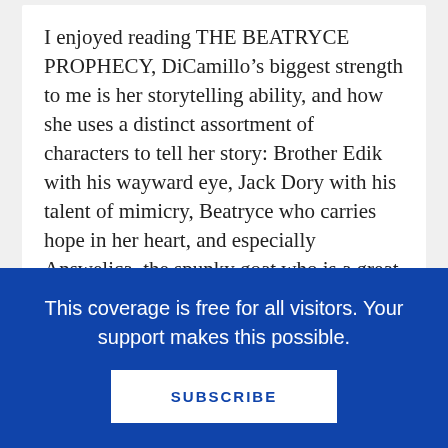I enjoyed reading THE BEATRYCE PROPHECY, DiCamillo’s biggest strength to me is her storytelling ability, and how she uses a distinct assortment of characters to tell her story: Brother Edik with his wayward eye, Jack Dory with his talent of mimicry, Beatryce who carries hope in her heart, and especially Answelica, the spunky goat who is a great judge of character. I would have like to see more character development of Beatryce’s mother and Cannoc, the wayward king, as they seem integral to the story.
As others have stated, I too thought the end of
This coverage is free for all visitors. Your support makes this possible.
SUBSCRIBE